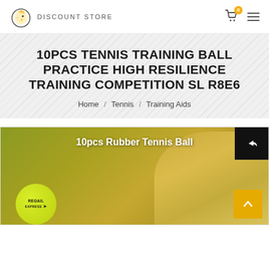DISCOUNT STORE
10PCS TENNIS TRAINING BALL PRACTICE HIGH RESILIENCE TRAINING COMPETITION SL R8E6
Home / Tennis / Training Aids
[Figure (photo): Product photo showing 10pcs Rubber Tennis Ball with a yellow-green tennis ball in foreground with REGAIL Express branding, and a woman wearing a white visor in the background on a golden/olive background]